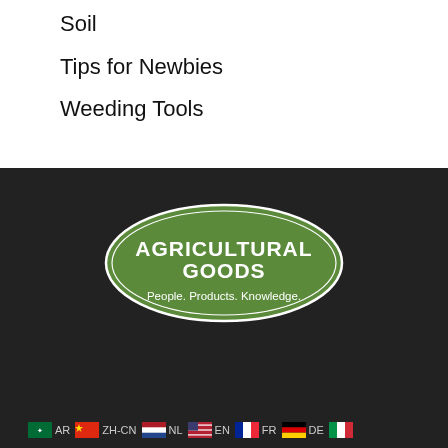Soil
Tips for Newbies
Weeding Tools
[Figure (logo): Agricultural Goods logo — green oval shape with white border, text 'AGRICULTURAL GOODS' in bold white capitals, subtitle 'People. Products. Knowledge.' in white on dark green background]
AR  ZH-CN  NL  EN  FR  DE  IT  PT  ES